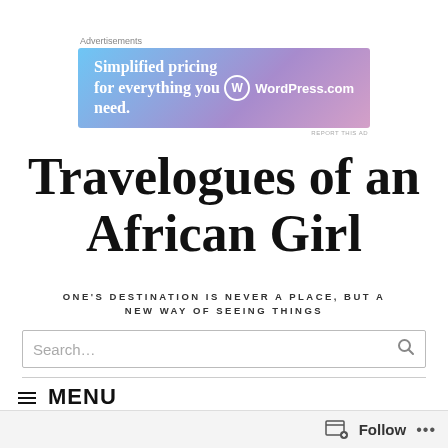Advertisements
[Figure (screenshot): WordPress.com advertisement banner with gradient blue-purple background. Text: 'Simplified pricing for everything you need.' with WordPress.com logo.]
Travelogues of an African Girl
ONE'S DESTINATION IS NEVER A PLACE, BUT A NEW WAY OF SEEING THINGS
Search...
MENU
Follow ...